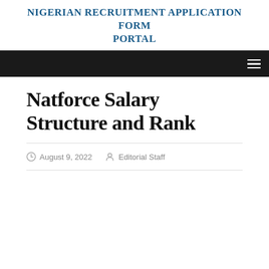NIGERIAN RECRUITMENT APPLICATION FORM PORTAL
Natforce Salary Structure and Rank
August 9, 2022  Editorial Staff